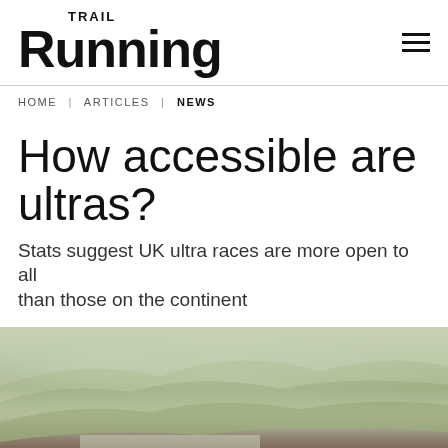Trail Running
HOME | ARTICLES | NEWS
How accessible are ultras?
Stats suggest UK ultra races are more open to all than those on the continent
[Figure (photo): Outdoor landscape photo showing rolling green hills with a valley town below, and rocky terrain in the foreground with a person hiking/trail running visible at the bottom.]